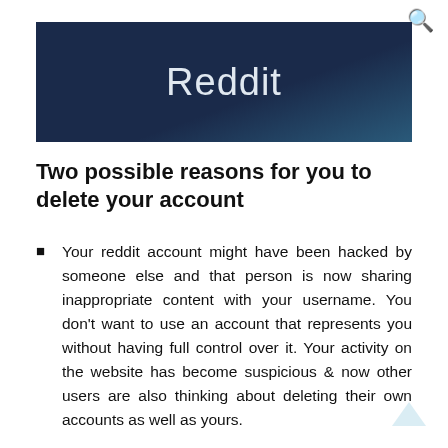[Figure (photo): Photo of a phone/screen showing the Reddit logo text in white on a dark navy/teal background]
Two possible reasons for you to delete your account
Your reddit account might have been hacked by someone else and that person is now sharing inappropriate content with your username. You don't want to use an account that represents you without having full control over it. Your activity on the website has become suspicious & now other users are also thinking about deleting their own accounts as well as yours.
Publicizing personal information such as e-